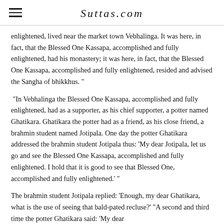Suttas.com
enlightened, lived near the market town Vebhalinga. It was here, in fact, that the Blessed One Kassapa, accomplished and fully enlightened, had his monastery; it was here, in fact, that the Blessed One Kassapa, accomplished and fully enlightened, resided and advised the Sangha of bhikkhus. "
"In Vebhalinga the Blessed One Kassapa, accomplished and fully enlightened, had as a supporter, as his chief supporter, a potter named Ghatikara. Ghatikara the potter had as a friend, as his close friend, a brahmin student named Jotipala. One day the potter Ghatikara addressed the brahmin student Jotipala thus: 'My dear Jotipala, let us go and see the Blessed One Kassapa, accomplished and fully enlightened. I hold that it is good to see that Blessed One, accomplished and fully enlightened.' "
The brahmin student Jotipala replied: 'Enough, my dear Ghatikara, what is the use of seeing that bald-pated recluse?' "A second and third time the potter Ghatikara said: 'My dear...